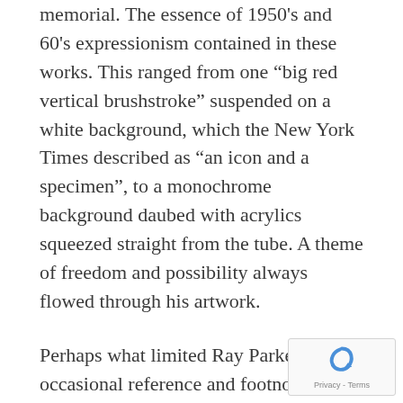memorial. The essence of 1950's and 60's expressionism contained in these works. This ranged from one “big red vertical brushstroke” suspended on a white background, which the New York Times described as “an icon and a specimen”, to a monochrome background daubed with acrylics squeezed straight from the tube. A theme of freedom and possibility always flowed through his artwork.
Perhaps what limited Ray Parker to the occasional reference and footnotes of history (which is better than most ever get) was the absence of real pain and suffering in his works. Great art is often born of great suffering and nowhere is this present in his artwork. Ray Parker was a relatively content man, yet he was still able to channel his feelings into